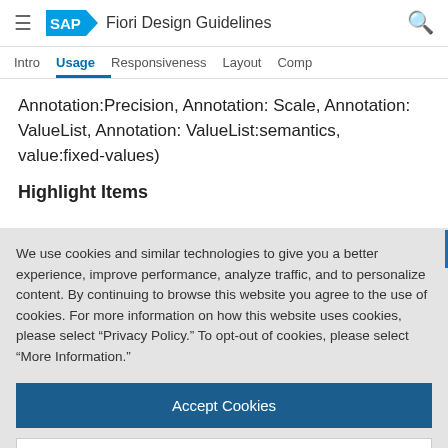SAP Fiori Design Guidelines
Intro  Usage  Responsiveness  Layout  Comp
Annotation:Precision, Annotation: Scale, Annotation: ValueList, Annotation: ValueList:semantics, value:fixed-values)
Highlight Items
We use cookies and similar technologies to give you a better experience, improve performance, analyze traffic, and to personalize content. By continuing to browse this website you agree to the use of cookies. For more information on how this website uses cookies, please select “Privacy Policy.” To opt-out of cookies, please select “More Information.”
Accept Cookies
More Information
Privacy Policy | Powered by: TrustArc